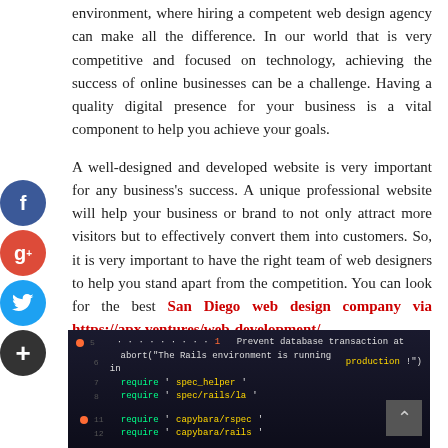environment, where hiring a competent web design agency can make all the difference. In our world that is very competitive and focused on technology, achieving the success of online businesses can be a challenge. Having a quality digital presence for your business is a vital component to help you achieve your goals.
A well-designed and developed website is very important for any business's success. A unique professional website will help your business or brand to not only attract more visitors but to effectively convert them into customers. So, it is very important to have the right team of web designers to help you stand apart from the competition. You can look for the best San Diego web design company via https://apx.ventures/web-development/
[Figure (screenshot): Dark-themed code editor screenshot showing Ruby/Rails code with colored text including require statements and other code lines on a dark background]